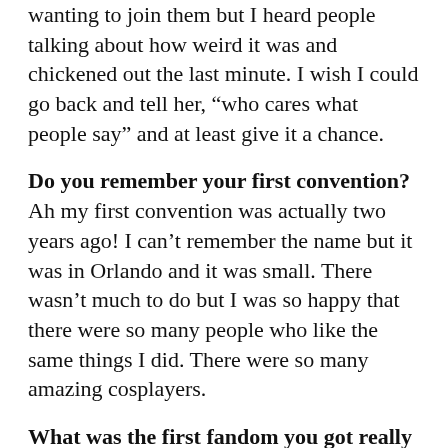wanting to join them but I heard people talking about how weird it was and chickened out the last minute. I wish I could go back and tell her, “who cares what people say” and at least give it a chance.
Do you remember your first convention? Ah my first convention was actually two years ago! I can’t remember the name but it was in Orlando and it was small. There wasn’t much to do but I was so happy that there were so many people who like the same things I did. There were so many amazing cosplayers.
What was the first fandom you got really invested in? How did you express your fandom? The first fandom I got interested in was Case Closed, later known as Detective Conan. I have always loved Nancy Drew and The Hardy Boys so when found this anime I was completely infatuated. I would go online and write fan fiction, make scrapbooks, and try to buy every manga I